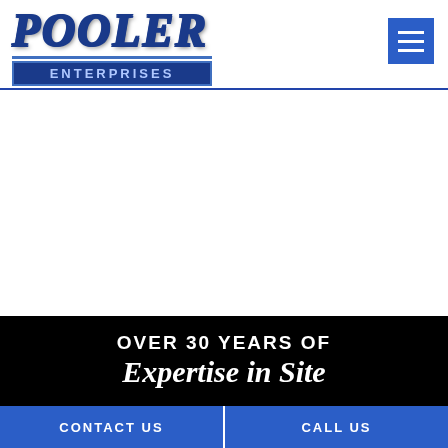[Figure (logo): Pooler Enterprises company logo — 'POOLER' in large italic serif text with blue metallic gradient and 'ENTERPRISES' on a dark blue rectangular banner below]
[Figure (other): Hamburger menu icon — three horizontal white lines on a blue square button in top right corner]
OVER 30 YEARS OF Expertise in Site
CONTACT US
CALL US